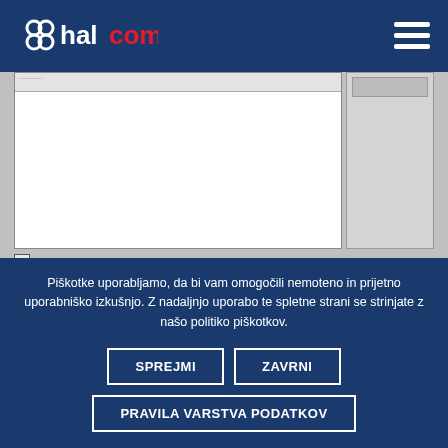halcom (logo) — navigation header with hamburger menu
[Figure (screenshot): Screenshot of Internet Explorer Compatibility View Settings dialog. Shows a large white text area, a right side panel, two checkboxes: one checked 'Display intranet sites in Compatibility View' and one unchecked 'Use Microsoft compatibility lists', and a partial line 'Learn more by reading the Internet Explorer privacy statement'.]
Piškotke uporabljamo, da bi vam omogočili nemoteno in prijetno uporabniško izkušnjo. Z nadaljnjo uporabo te spletne strani se strinjate z našo politiko piškotkov.
SPREJMI
ZAVRNI
PRAVILA VARSTVA PODATKOV